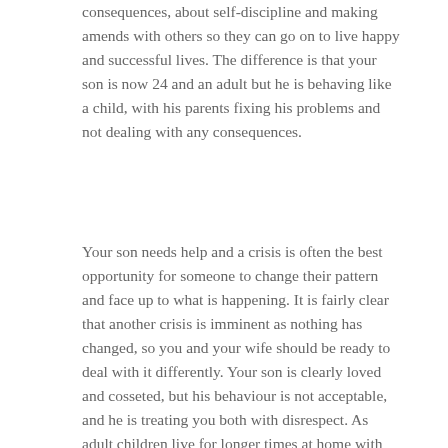consequences, about self-discipline and making amends with others so they can go on to live happy and successful lives. The difference is that your son is now 24 and an adult but he is behaving like a child, with his parents fixing his problems and not dealing with any consequences.
Your son needs help and a crisis is often the best opportunity for someone to change their pattern and face up to what is happening. It is fairly clear that another crisis is imminent as nothing has changed, so you and your wife should be ready to deal with it differently. Your son is clearly loved and cosseted, but his behaviour is not acceptable, and he is treating you both with disrespect. As adult children live for longer times at home with parents, leeway must be given them in terms of bringing partners home, but this comes with dual responsibility – he must also behave as an adult if he wishes to be treated as one and this entails taking on his